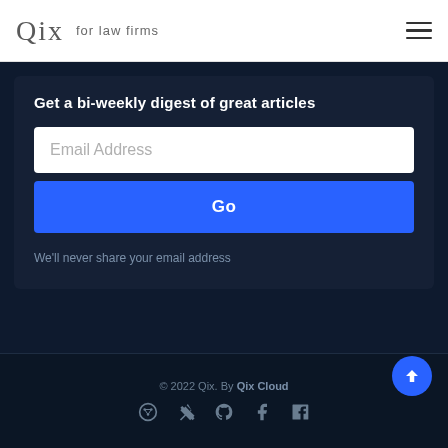Qix for law firms
Get a bi-weekly digest of great articles
Email Address
Go
We'll never share your email address
© 2022 Qix. By Qix Cloud